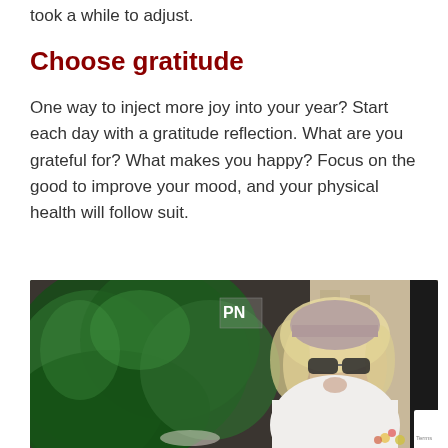took a while to adjust.
Choose gratitude
One way to inject more joy into your year? Start each day with a gratitude reflection. What are you grateful for? What makes you happy? Focus on the good to improve your mood, and your physical health will follow suit.
[Figure (photo): A smiling blonde woman wearing sunglasses and a pink beanie, dressed in a white sweater, sitting outdoors near green plants with a city street background. She appears to be at an outdoor cafe.]